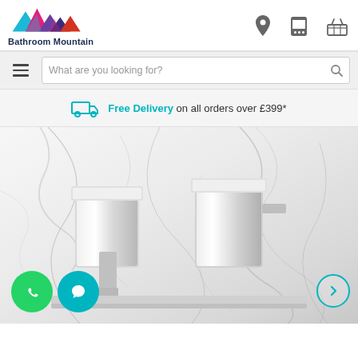[Figure (logo): Bathroom Mountain logo with colorful mountain peaks and brand name]
What are you looking for?
Free Delivery on all orders over £399*
[Figure (photo): Chrome waterfall bath taps against a white marble background, with WhatsApp and chat overlay buttons at bottom left, and a navigation arrow at bottom right]